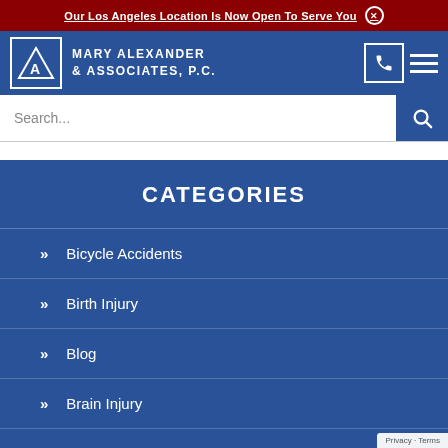Our Los Angeles Location Is Now Open To Serve You ⊗
[Figure (logo): Mary Alexander & Associates P.C. law firm logo with triangle/A icon and firm name]
Search...
CATEGORIES
» Bicycle Accidents
» Birth Injury
» Blog
» Brain Injury
» Burn Injury
» Business Law